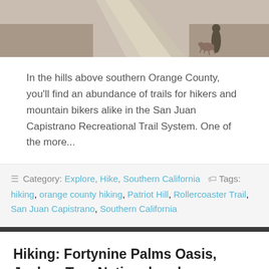[Figure (photo): Person with dog on a dirt road trail, desert scrub vegetation on both sides]
In the hills above southern Orange County, you'll find an abundance of trails for hikers and mountain bikers alike in the San Juan Capistrano Recreational Trail System. One of the more...
Category: Explore, Hike, Southern California  Tags: hiking, orange county hiking, Patriot Hill, Rollercoaster Trail, San Juan Capistrano, Southern California
Hiking: Fortynine Palms Oasis, Joshua Tree National park
[Figure (photo): Palm trees against a blue sky, partial view at bottom of page]